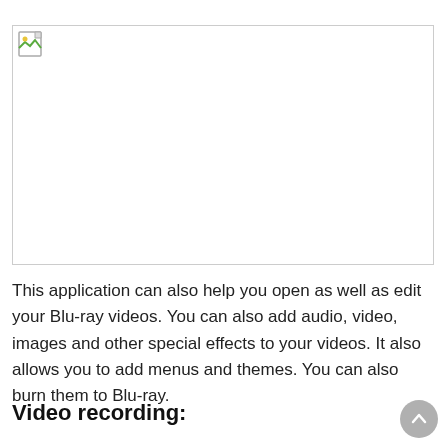[Figure (other): Broken/missing image placeholder with small image icon in top-left corner and border outline]
This application can also help you open as well as edit your Blu-ray videos. You can also add audio, video, images and other special effects to your videos. It also allows you to add menus and themes. You can also burn them to Blu-ray.
Video recording: